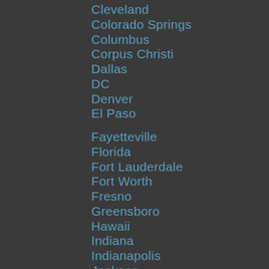Cleveland
Colorado Springs
Columbus
Corpus Christi
Dallas
DC
Denver
El Paso
Fayetteville
Florida
Fort Lauderdale
Fort Worth
Fresno
Greensboro
Hawaii
Indiana
Indianapolis
Jackson
Kanas City
Laredo
Lexington
Longview